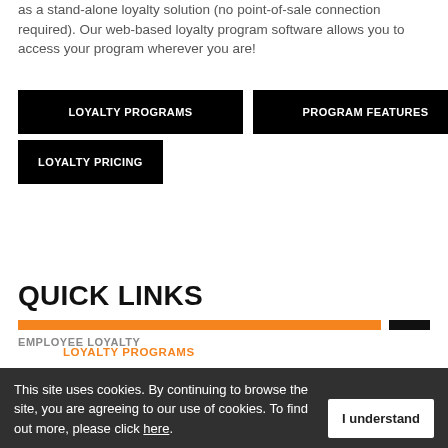as a stand-alone loyalty solution (no point-of-sale connection required). Our web-based loyalty program software allows you to access your program wherever you are!
LOYALTY PROGRAMS
PROGRAM FEATURES
LOYALTY PRICING
QUICK LINKS
LOYALTY PROGRAMS
EMPLOYEE LOYALTY
This site uses cookies. By continuing to browse the site, you are agreeing to our use of cookies. To find out more, please click here.